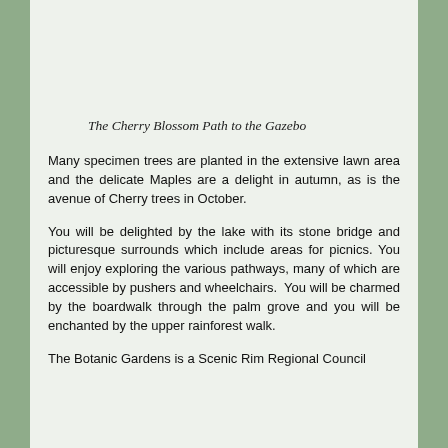The Cherry Blossom Path to the Gazebo
Many specimen trees are planted in the extensive lawn area and the delicate Maples are a delight in autumn, as is the avenue of Cherry trees in October.
You will be delighted by the lake with its stone bridge and picturesque surrounds which include areas for picnics. You will enjoy exploring the various pathways, many of which are accessible by pushers and wheelchairs.  You will be charmed by the boardwalk through the palm grove and you will be enchanted by the upper rainforest walk.
The Botanic Gardens is a Scenic Rim Regional Council